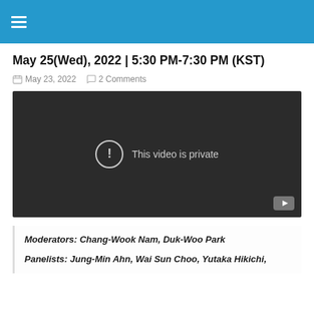≡ (hamburger menu)
May 25(Wed), 2022 | 5:30 PM-7:30 PM (KST)
May 23, 2022  2 Comments
[Figure (screenshot): Embedded video player showing 'This video is private' message with a YouTube play button in the bottom right corner. Dark background with a warning icon circle and the text 'This video is private' in the center.]
Moderators: Chang-Wook Nam, Duk-Woo Park
Panelists: Jung-Min Ahn, Wai Sun Choo, Yutaka Hikichi,